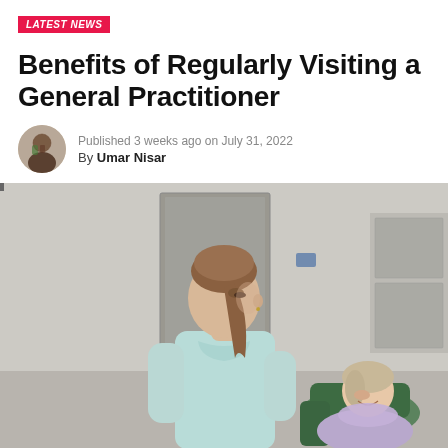LATEST NEWS
Benefits of Regularly Visiting a General Practitioner
Published 3 weeks ago on July 31, 2022
By Umar Nisar
[Figure (photo): A healthcare professional (dentist or doctor) wearing a light blue scrub and a pulled-down face mask, with long brown hair in a ponytail, speaking to a smiling female patient seated in a green dental/medical chair inside a clinic.]